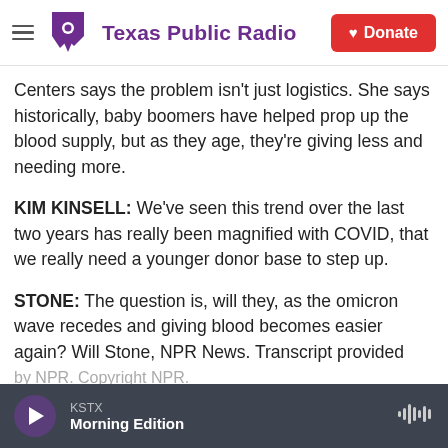Texas Public Radio | Donate
Centers says the problem isn't just logistics. She says historically, baby boomers have helped prop up the blood supply, but as they age, they're giving less and needing more.
KIM KINSELL: We've seen this trend over the last two years has really been magnified with COVID, that we really need a younger donor base to step up.
STONE: The question is, will they, as the omicron wave recedes and giving blood becomes easier again? Will Stone, NPR News. Transcript provided by NPR. Copyright NPR.
KSTX Morning Edition